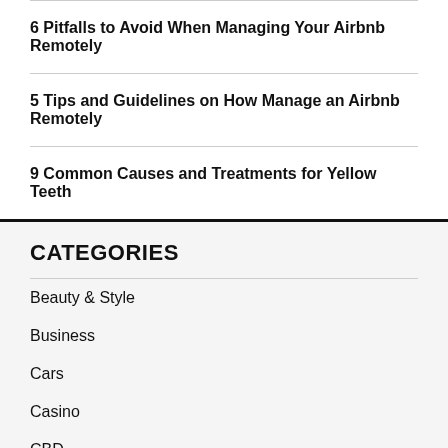6 Pitfalls to Avoid When Managing Your Airbnb Remotely
5 Tips and Guidelines on How Manage an Airbnb Remotely
9 Common Causes and Treatments for Yellow Teeth
CATEGORIES
Beauty & Style
Business
Cars
Casino
CBD
Crypto
Drinks
Education